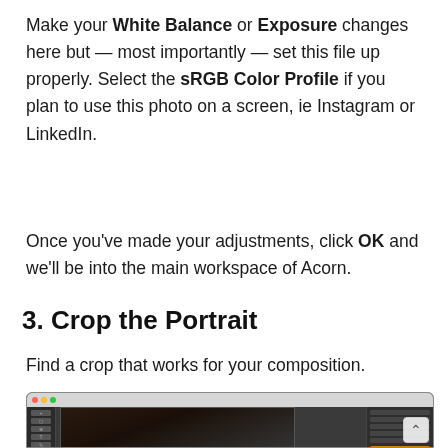Make your White Balance or Exposure changes here but — most importantly — set this file up properly. Select the sRGB Color Profile if you plan to use this photo on a screen, ie Instagram or LinkedIn.
Once you've made your adjustments, click OK and we'll be into the main workspace of Acorn.
3. Crop the Portrait
Find a crop that works for your composition.
[Figure (screenshot): Screenshot of the Acorn image editing application showing a dark portrait photo being edited, with toolbars on the left and a properties panel on the right.]